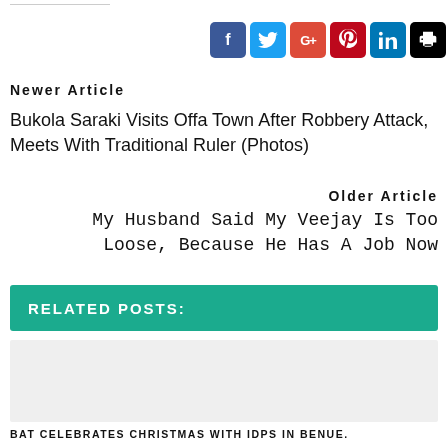[Figure (other): Social media share icons: Facebook (blue), Twitter (light blue), Google+ (red-orange), Pinterest (red), LinkedIn (blue), Print (black)]
Newer Article
Bukola Saraki Visits Offa Town After Robbery Attack, Meets With Traditional Ruler (Photos)
Older Article
My Husband Said My Veejay Is Too Loose, Because He Has A Job Now
RELATED POSTS:
[Figure (photo): Placeholder/empty image box with light grey background]
BAT CELEBRATES CHRISTMAS WITH IDPS IN BENUE.